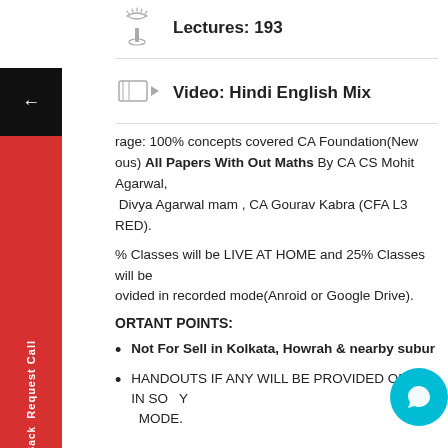Lectures: 193
Video: Hindi English Mix
rage: 100% concepts covered CA Foundation(New ous) All Papers With Out Maths By CA CS Mohit Agarwal, Divya Agarwal mam , CA Gourav Kabra (CFA L3 RED).
% Classes will be LIVE AT HOME and 25% Classes will be ovided in recorded mode(Anroid or Google Drive).
ORTANT POINTS:
Not For Sell in Kolkata, Howrah & nearby subur
HANDOUTS IF ANY WILL BE PROVIDED ONLY IN SO Y MODE.